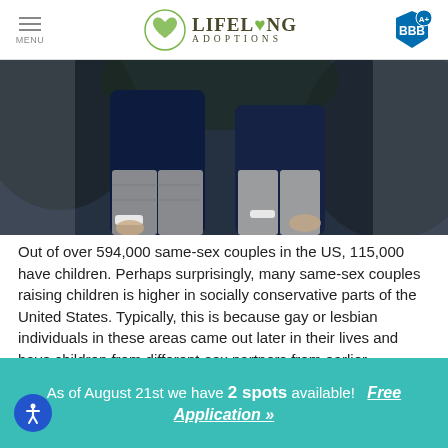MENU | LIFELONG ADOPTIONS | BBB A+
[Figure (photo): Photo of two people standing outdoors, torsos and arms visible, one wearing a dark navy top, the other in grey plaid trousers, dark natural background]
Out of over 594,000 same-sex couples in the US, 115,000 have children. Perhaps surprisingly, many same-sex couples raising children is higher in socially conservative parts of the United States. Typically, this is because gay or lesbian individuals in these areas came out later in their lives and have children from different-sex partners from earlier relationships.
Despite the lack of legal protections there for LGBTQ families,
As of August 21st we have 2 spots available!   Free Application »